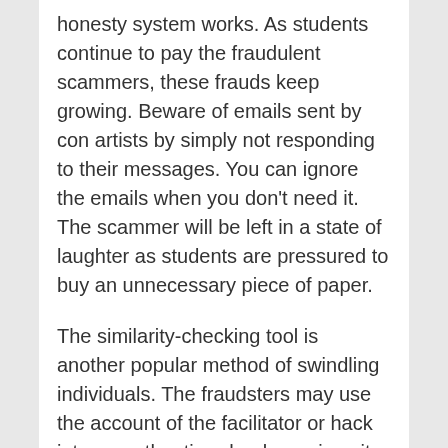honesty system works. As students continue to pay the fraudulent scammers, these frauds keep growing. Beware of emails sent by con artists by simply not responding to their messages. You can ignore the emails when you don't need it. The scammer will be left in a state of laughter as students are pressured to buy an unnecessary piece of paper.
The similarity-checking tool is another popular method of swindling individuals. The fraudsters may use the account of the facilitator or hack into an authentic school or university. In the end, they may employ their own account, as well as that of a fellow faculty member or student in order to send the essay to the software for similarity